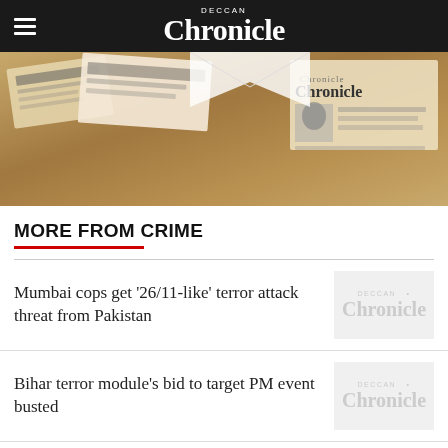Deccan Chronicle
[Figure (photo): Old Deccan Chronicle newspaper clippings collage on aged brown background]
MORE FROM CRIME
Mumbai cops get '26/11-like' terror attack threat from Pakistan
Bihar terror module's bid to target PM event busted
Woman school teacher killed by militants in Valley
Cyber frauds hack ED details: